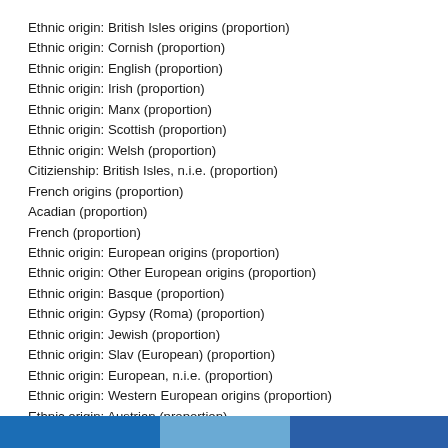Ethnic origin: British Isles origins (proportion)
Ethnic origin: Cornish (proportion)
Ethnic origin: English (proportion)
Ethnic origin: Irish (proportion)
Ethnic origin: Manx (proportion)
Ethnic origin: Scottish (proportion)
Ethnic origin: Welsh (proportion)
Citizienship: British Isles, n.i.e. (proportion)
French origins (proportion)
Acadian (proportion)
French (proportion)
Ethnic origin: European origins (proportion)
Ethnic origin: Other European origins (proportion)
Ethnic origin: Basque (proportion)
Ethnic origin: Gypsy (Roma) (proportion)
Ethnic origin: Jewish (proportion)
Ethnic origin: Slav (European) (proportion)
Ethnic origin: European, n.i.e. (proportion)
Ethnic origin: Western European origins (proportion)
Ethnic origin: Austrian (proportion)